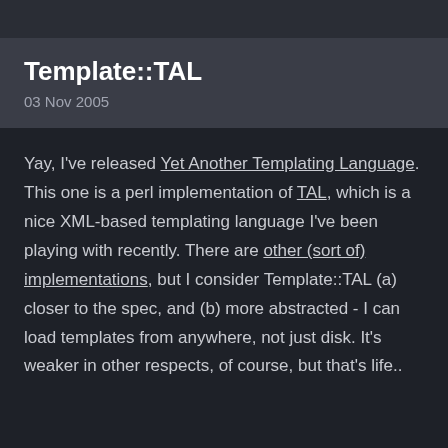Template::TAL
03 Nov 2005
Yay, I've released Yet Another Templating Language. This one is a perl implementation of TAL, which is a nice XML-based templating language I've been playing with recently. There are other (sort of) implementations, but I consider Template::TAL (a) closer to the spec, and (b) more abstracted - I can load templates from anywhere, not just disk. It's weaker in other respects, of course, but that's life..